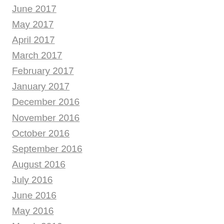June 2017
May 2017
April 2017
March 2017
February 2017
January 2017
December 2016
November 2016
October 2016
September 2016
August 2016
July 2016
June 2016
May 2016
March 2016
January 2016
December 2015
November 2015
October 2015